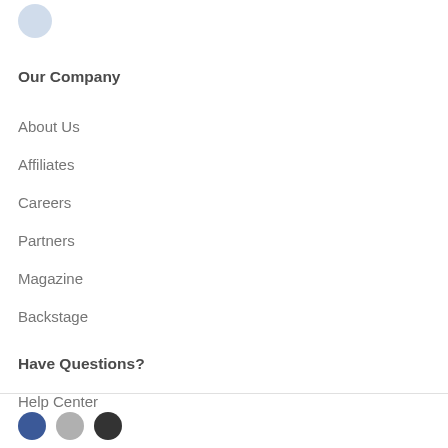Our Company
About Us
Affiliates
Careers
Partners
Magazine
Backstage
Have Questions?
Help Center